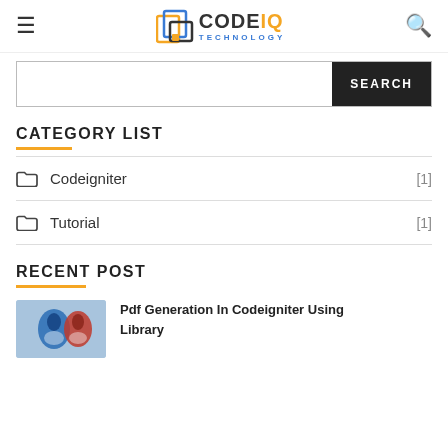CODE IQ TECHNOLOGY
CATEGORY LIST
Codeigniter [1]
Tutorial [1]
RECENT POST
Pdf Generation In Codeigniter Using Library